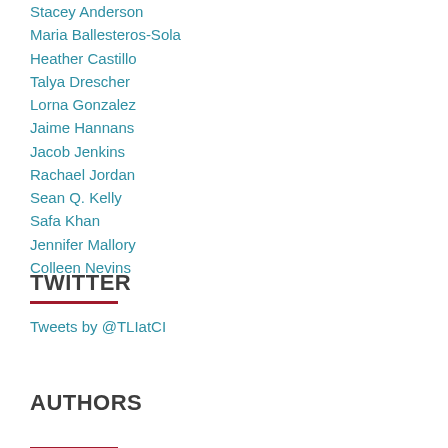Stacey Anderson
Maria Ballesteros-Sola
Heather Castillo
Talya Drescher
Lorna Gonzalez
Jaime Hannans
Jacob Jenkins
Rachael Jordan
Sean Q. Kelly
Safa Khan
Jennifer Mallory
Colleen Nevins
TWITTER
Tweets by @TLIatCI
AUTHORS